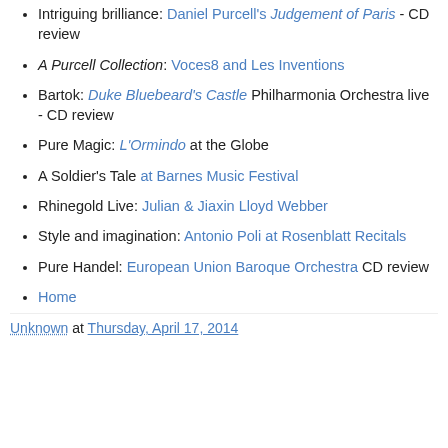Intriguing brilliance: Daniel Purcell's Judgement of Paris - CD review
A Purcell Collection: Voces8 and Les Inventions
Bartok: Duke Bluebeard's Castle Philharmonia Orchestra live - CD review
Pure Magic: L'Ormindo at the Globe
A Soldier's Tale at Barnes Music Festival
Rhinegold Live: Julian & Jiaxin Lloyd Webber
Style and imagination: Antonio Poli at Rosenblatt Recitals
Pure Handel: European Union Baroque Orchestra CD review
Home
Unknown at Thursday, April 17, 2014